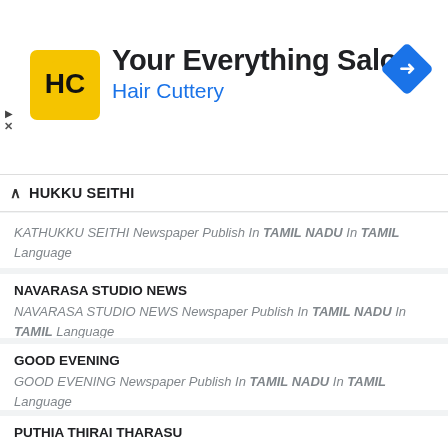[Figure (logo): Hair Cuttery ad banner with HC logo, 'Your Everything Salon' heading and 'Hair Cuttery' subtitle, navigation diamond icon]
HUKKU SEITHI
KATHUKKU SEITHI Newspaper Publish In TAMIL NADU In TAMIL Language
NAVARASA STUDIO NEWS Newspaper Publish In TAMIL NADU In TAMIL Language
GOOD EVENING Newspaper Publish In TAMIL NADU In TAMIL Language
PUTHIA THIRAI THARASU Newspaper Publish In TAMIL NADU In TAMIL Language